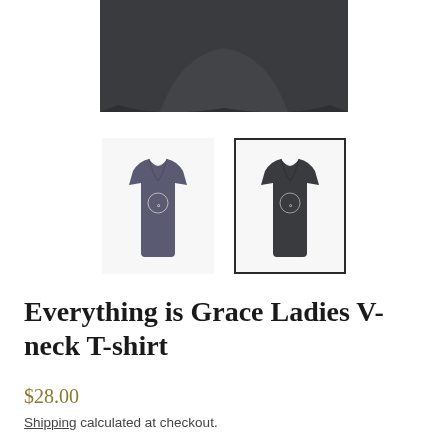[Figure (photo): Dark charcoal grey ladies v-neck t-shirt shown from front, cropped at top]
[Figure (photo): Two thumbnail images of the t-shirt: left in navy/dark grey color, right in charcoal black with selected border]
Everything is Grace Ladies V-neck T-shirt
$28.00
Shipping calculated at checkout.